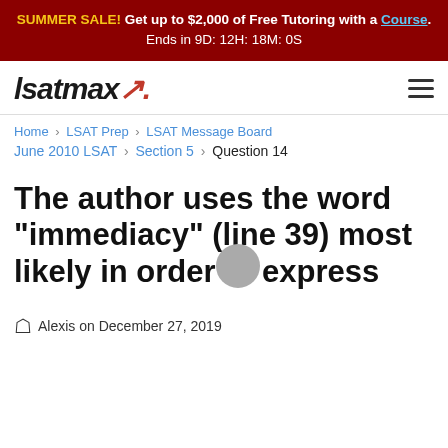SUMMER SALE! Get up to $2,000 of Free Tutoring with a Course. Ends in 9D: 12H: 18M: 0S
[Figure (logo): LSATMax logo with hamburger menu icon]
Home > LSAT Prep > LSAT Message Board
June 2010 LSAT > Section 5 > Question 14
The author uses the word "immediacy" (line 39) most likely in order to express
Alexis on December 27, 2019